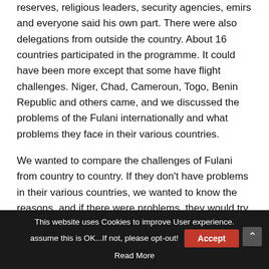reserves, religious leaders, security agencies, emirs and everyone said his own part. There were also delegations from outside the country. About 16 countries participated in the programme. It could have been more except that some have flight challenges. Niger, Chad, Cameroun, Togo, Benin Republic and others came, and we discussed the problems of the Fulani internationally and what problems they face in their various countries.
We wanted to compare the challenges of Fulani from country to country. If they don't have problems in their various countries, we wanted to know the reasons, and if there were problems, they would try to proactively them...
This website uses Cookies to improve User experience. assume this is OK...If not, please opt-out! Accept Read More